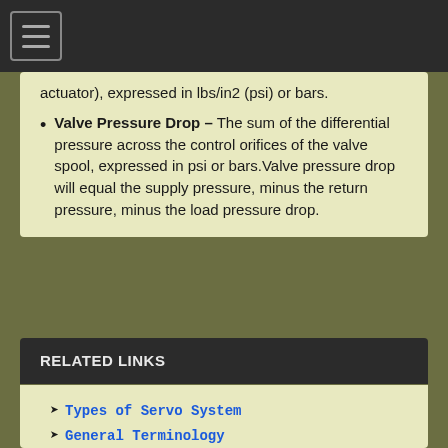Navigation menu button
actuator), expressed in lbs/in2 (psi) or bars.
Valve Pressure Drop – The sum of the differential pressure across the control orifices of the valve spool, expressed in psi or bars. Valve pressure drop will equal the supply pressure, minus the return pressure, minus the load pressure drop.
RELATED LINKS
Types of Servo System
General Terminology
Electrical Characteristics